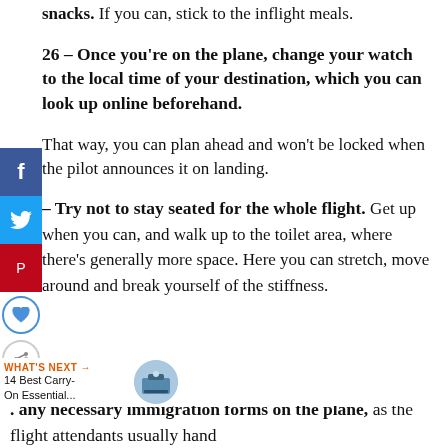snacks. If you can, stick to the inflight meals.
26 – Once you're on the plane, change your watch to the local time of your destination, which you can look up online beforehand.
That way, you can plan ahead and won't be shocked when the pilot announces it on landing.
– Try not to stay seated for the whole flight. Get up when you can, and walk up to the toilet area, where there's generally more space. Here you can stretch, move around and break yourself of the stiffness.
[Figure (infographic): Social sharing sidebar with Facebook, Twitter, Pinterest buttons and heart/share icons]
WHAT'S NEXT → 14 Best Carry-On Essential...
. any necessary immigration forms on the plane, as the flight attendants usually hand